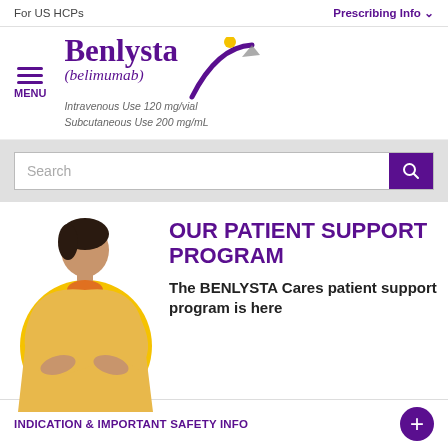For US HCPs
Prescribing Info
[Figure (logo): Benlysta (belimumab) logo with swoosh graphic. Intravenous Use 120 mg/vial, Subcutaneous Use 200 mg/mL]
Search
[Figure (photo): Woman with arms crossed wearing yellow shirt, standing in front of a yellow circle background]
OUR PATIENT SUPPORT PROGRAM
The BENLYSTA Cares patient support program is here
INDICATION & IMPORTANT SAFETY INFO